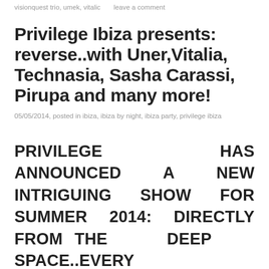visionquest trio, umek, vitalic     leave a comment
Privilege Ibiza presents: reverse..with Uner,Vitalia, Technasia, Sasha Carassi, Pirupa and many more!
05/05/2014, posted in ibiza, ibiza by night, ibiza party, privilege ibiza
PRIVILEGE HAS ANNOUNCED A NEW INTRIGUING SHOW FOR SUMMER 2014: DIRECTLY FROM THE DEEP SPACE..EVERY